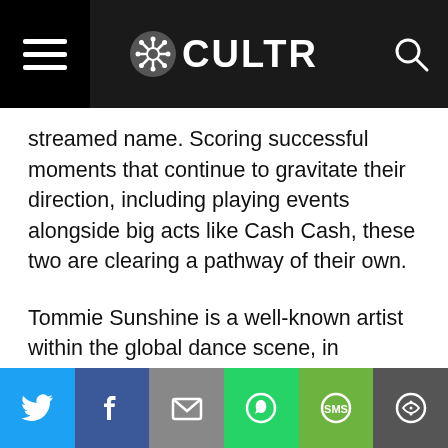CULTR — popular names like vocalist Kayslin Victoria and other's helped them become an 1 million+ streamed name.
streamed name. Scoring successful moments that continue to gravitate their direction, including playing events alongside big acts like Cash Cash, these two are clearing a pathway of their own.
Tommie Sunshine is a well-known artist within the global dance scene, in particular within house. Regular demand for his shows, music is the norm, while being the founder of above mentioned label Brooklyn Fire keeps him busy, Sunshine knows how to bring the love and take things to the next level.
Share buttons: Twitter, Facebook, Email, WhatsApp, SMS, More